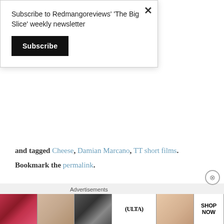Subscribe to Redmangoreviews' 'The Big Slice' weekly newsletter
Subscribe
and tagged Cheese, Damian Marcano, TT short films. Bookmark the permalink.
Advertisements
[Figure (photo): Advertisement banner with beauty/makeup product images and ULTA beauty branding with SHOP NOW text]